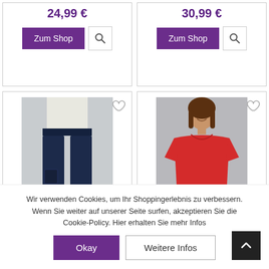24,99 €
30,99 €
Zum Shop
Zum Shop
[Figure (photo): Woman wearing navy blue cropped cargo trousers with sandals]
[Figure (photo): Woman wearing a red short-sleeve top with dark jeans]
Wir verwenden Cookies, um Ihr Shoppingerlebnis zu verbessern. Wenn Sie weiter auf unserer Seite surfen, akzeptieren Sie die Cookie-Policy. Hier erhalten Sie mehr Infos
Okay
Weitere Infos